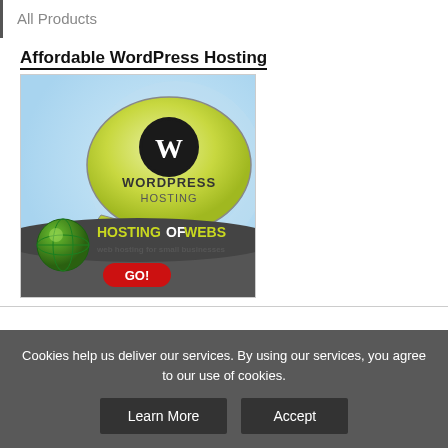All Products
Affordable WordPress Hosting
[Figure (illustration): WordPress Hosting advertisement banner showing WordPress logo in a speech bubble, HostingOfWebs branding with globe icon, text 'web hosting for small businesses', and a red GO! button, on a light blue background with dark grey bottom section.]
Cookies help us deliver our services. By using our services, you agree to our use of cookies.
Learn More
Accept